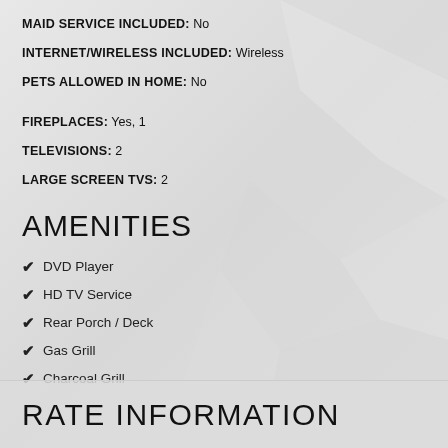MAID SERVICE INCLUDED: No
INTERNET/WIRELESS INCLUDED: Wireless
PETS ALLOWED IN HOME: No
FIREPLACES: Yes, 1
TELEVISIONS: 2
LARGE SCREEN TVS: 2
AMENITIES
DVD Player
HD TV Service
Rear Porch / Deck
Gas Grill
Charcoal Grill
RATE INFORMATION